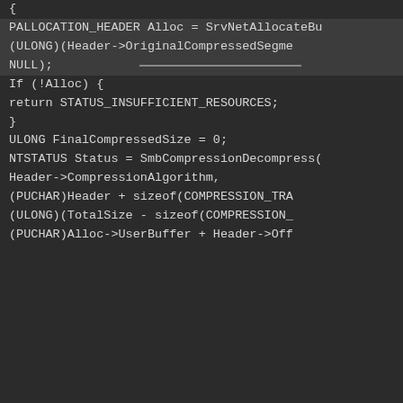{ PALLOCATION_HEADER Alloc = SrvNetAllocateBu (ULONG)(Header->OriginalCompressedSegme NULL); If (!Alloc) { return STATUS_INSUFFICIENT_RESOURCES; } ULONG FinalCompressedSize = 0; NTSTATUS Status = SmbCompressionDecompress( Header->CompressionAlgorithm, (PUCHAR)Header + sizeof(COMPRESSION_TRA (ULONG)(TotalSize - sizeof(COMPRESSION_ (PUCHAR)Alloc->UserBuffer + Header->Off